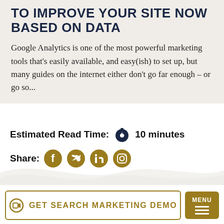TO IMPROVE YOUR SITE NOW BASED ON DATA
Google Analytics is one of the most powerful marketing tools that's easily available, and easy(ish) to set up, but many guides on the internet either don't go far enough – or go so...
Estimated Read Time: 10 minutes
Share:
[Figure (screenshot): CTA button with video icon reading GET SEARCH MARKETING DEMO and a MENU hamburger button]
GET SEARCH MARKETING DEMO
MENU